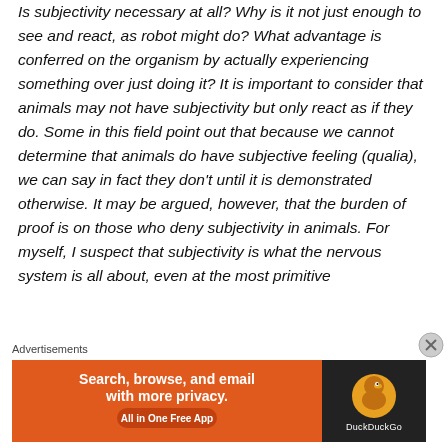of subjectivity, Elimas takes the question head-on. Is subjectivity necessary at all? Why is it not just enough to see and react, as robot might do? What advantage is conferred on the organism by actually experiencing something over just doing it? It is important to consider that animals may not have subjectivity but only react as if they do. Some in this field point out that because we cannot determine that animals do have subjective feeling (qualia), we can say in fact they don't until it is demonstrated otherwise. It may be argued, however, that the burden of proof is on those who deny subjectivity in animals. For myself, I suspect that subjectivity is what the nervous system is all about, even at the most primitive
Advertisements
[Figure (other): DuckDuckGo advertisement banner: orange left panel with text 'Search, browse, and email with more privacy. All in One Free App' and dark right panel with DuckDuckGo logo]